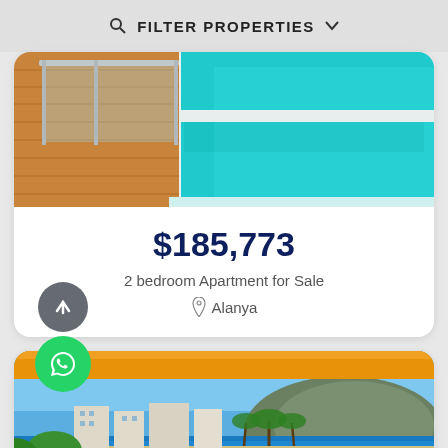FILTER PROPERTIES
[Figure (photo): Outdoor swimming pool with teal water and wooden deck, glass railing visible]
$185,773
2 bedroom Apartment for Sale
Alanya
[Figure (photo): Balcony view of coastal city Alanya with sea, palm trees, and mountain in background, orange awning overhead]